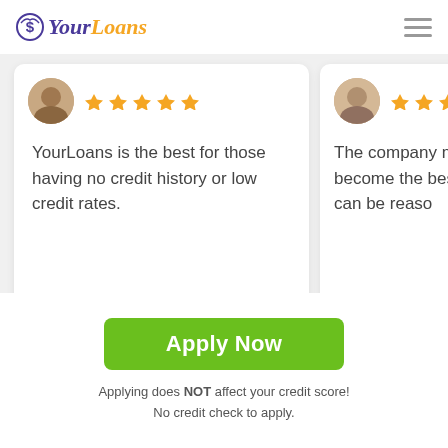YourLoans
YourLoans is the best for those having no credit history or low credit rates.
The company might become the best so still, it can be reaso
LOCATIONS
Apply Now
Applying does NOT affect your credit score! No credit check to apply.